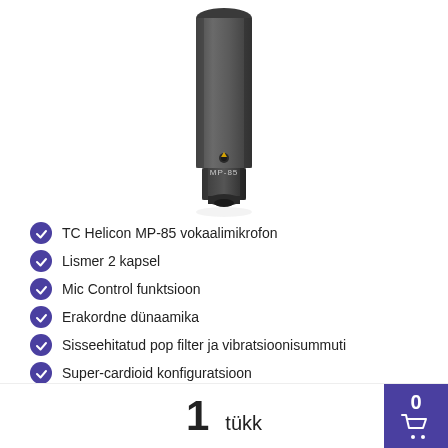[Figure (photo): TC Helicon MP-85 vocal microphone, dark grey cylindrical shape with label MP-85 near the bottom, shown vertically against white background]
TC Helicon MP-85 vokaalimikrofon
Lismer 2 kapsel
Mic Control funktsioon
Erakordne dünaamika
Sisseehitatud pop filter ja vibratsioonisummuti
Super-cardioid konfiguratsioon
Toode on Eesti laos ja koheselt saadaval
1 tükk